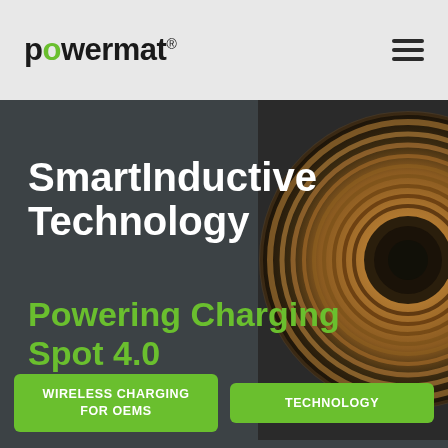[Figure (logo): Powermat logo with green 'o' and registered trademark symbol]
[Figure (illustration): Hamburger menu icon (three horizontal lines)]
[Figure (photo): Wireless charging coil photographed close-up, copper colored, circular, on dark gray background]
SmartInductive Technology
Powering Charging Spot 4.0
WIRELESS CHARGING FOR OEMS
TECHNOLOGY